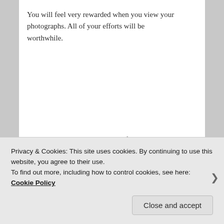You will feel very rewarded when you view your photographs. All of your efforts will be worthwhile.
Portions reused with permission from James Hodgins.
SHARE THIS:
Twitter Facebook Pinterest Email Print
Privacy & Cookies: This site uses cookies. By continuing to use this website, you agree to their use.
To find out more, including how to control cookies, see here: Cookie Policy